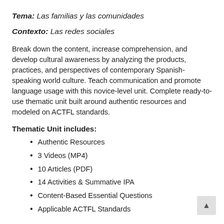Tema: Las familias y las comunidades
Contexto: Las redes sociales
Break down the content, increase comprehension, and develop cultural awareness by analyzing the products, practices, and perspectives of contemporary Spanish-speaking world culture. Teach communication and promote language usage with this novice-level unit. Complete ready-to-use thematic unit built around authentic resources and modeled on ACTFL standards.
Thematic Unit includes:
Authentic Resources
3 Videos (MP4)
10 Articles (PDF)
14 Activities & Summative IPA
Content-Based Essential Questions
Applicable ACTFL Standards